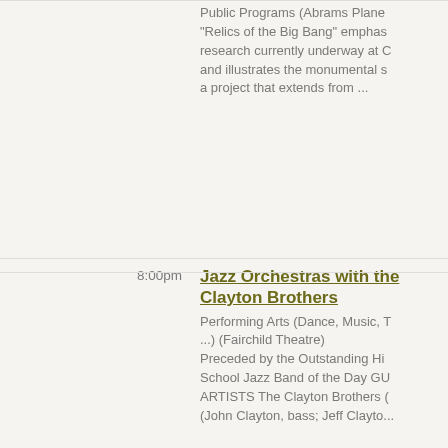Public Programs (Abrams Plane...) "Relics of the Big Bang" emphasizes research currently underway at C... and illustrates the monumental s... a project that extends from ...
8:00pm
Jazz Orchestras with the Clayton Brothers
Performing Arts (Dance, Music, T...) (Fairchild Theatre) Preceded by the Outstanding Hi... School Jazz Band of the Day GU... ARTISTS The Clayton Brothers ... (John Clayton, bass; Jeff Clayto...
9:00pm
ParaMorrill Activity
Student Events (MSU Union Mai... Lounge) 9 p.m., MSU Union Main Lounge... Groups will leave for the investig... at 9:30 p.m., 10:30 p.m. and 11:3... One of the best things abou...